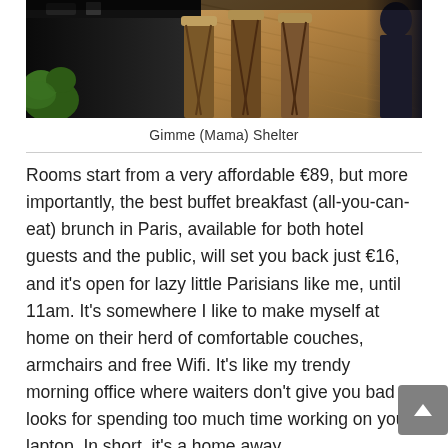[Figure (photo): Photo of a rooftop or terrace bar/café area with rattan bistro chairs and stools along a dark bar counter, with wooden decking, green plants, and a dark-clad figure in the background.]
Gimme (Mama) Shelter
Rooms start from a very affordable €89, but more importantly, the best buffet breakfast (all-you-can-eat) brunch in Paris, available for both hotel guests and the public, will set you back just €16, and it's open for lazy little Parisians like me, until 11am. It's somewhere I like to make myself at home on their herd of comfortable couches, armchairs and free Wifi. It's like my trendy morning office where waiters don't give you bad looks for spending too much time working on your laptop. In short, it's a home away